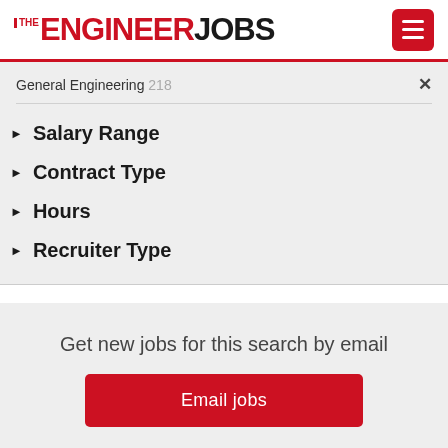THE ENGINEER JOBS
General Engineering 218
Salary Range
Contract Type
Hours
Recruiter Type
Get new jobs for this search by email
Email jobs